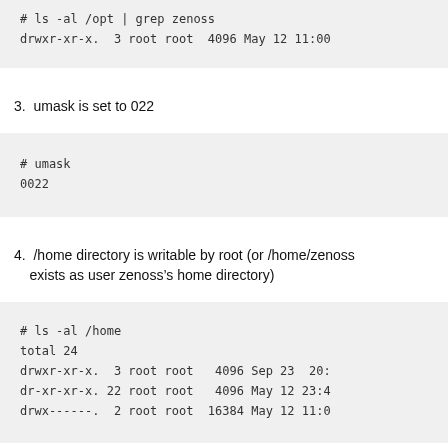[Figure (screenshot): Code block showing: # ls -al /opt | grep zenoss    drwxr-xr-x.  3 root root  4096 May 12 11:00]
3. umask is set to 022
[Figure (screenshot): Code block showing: # umask
0022]
4. /home directory is writable by root (or /home/zenoss exists as user zenoss’s home directory)
[Figure (screenshot): Code block showing: # ls -al /home
total 24
drwxr-xr-x.  3 root root   4096 Sep 23  20:
dr-xr-xr-x. 22 root root   4096 May 12 23:4
drwx------.  2 root root  16384 May 12 11:0]